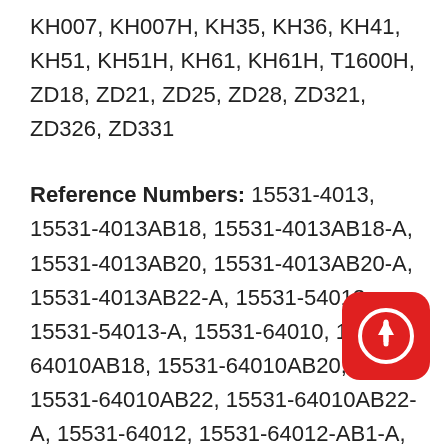KH007, KH007H, KH35, KH36, KH41, KH51, KH51H, KH61, KH61H, T1600H, ZD18, ZD21, ZD25, ZD28, ZD321, ZD326, ZD331
Reference Numbers: 15531-4013, 15531-4013AB18, 15531-4013AB18-A, 15531-4013AB20, 15531-4013AB20-A, 15531-4013AB22-A, 15531-54013, 15531-54013-A, 15531-64010, 15531-64010AB18, 15531-64010AB20, 15531-64010AB22, 15531-64010AB22-A, 15531-64012, 15531-64012-AB1-A, 15531-64012AB18, 15531-64012AB18-A, 15531-64012AB20, 15531-64012AB20-A, 15531-64012AB22, 15531-64012AB22-A, 15531-64013, 15531-64013-A, 15531-64013-AB1, 15531-64013-AB1-A, 15531-64014, 15531-64014-AB1, 15531-64014AB18, 15531-64014AB18-A, 15531-64014AB20, 15531-64014AB20-A, 15531-64014AB22, 15531-64014AB22-A, 15531-64015, 15531-64016, 15531-64016-A, 15531-